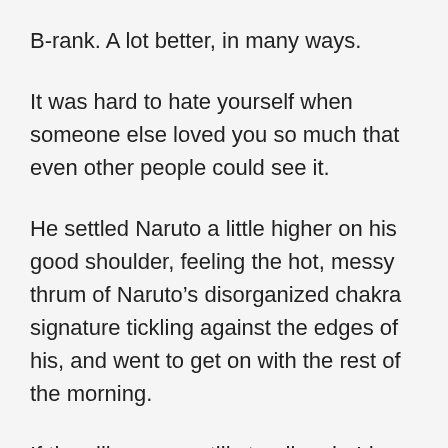B-rank. A lot better, in many ways.
It was hard to hate yourself when someone else loved you so much that even other people could see it.
He settled Naruto a little higher on his good shoulder, feeling the hot, messy thrum of Naruto’s disorganized chakra signature tickling against the edges of his, and went to get on with the rest of the morning.
If the village was still standing, he’d sleep at noon.